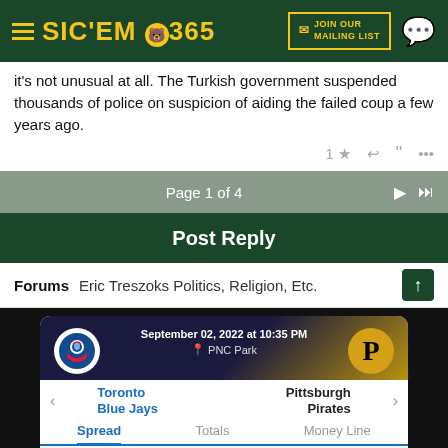SIC'EM 365 - Join Our Mailing List
it's not unusual at all. The Turkish government suspended thousands of police on suspicion of aiding the failed coup a few years ago.
1 ★ ← " ...
Page 1 of 4
Post Reply
Forums  Eric Treszoks Politics, Religion, Etc.
[Figure (screenshot): DraftKings sportsbook betting widget showing Toronto Blue Jays vs Pittsburgh Pirates game on September 02, 2022 at 10:35 PM at PNC Park. Spread tab active showing -1.5 / -135 for Blue Jays and +1.5 / -115 for Pirates.]